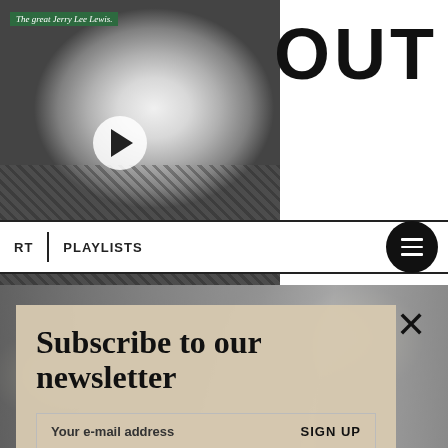[Figure (photo): Black and white photo of Jerry Lee Lewis smiling, with a play button overlay and green label reading 'The great Jerry Lee Lewis.']
OUT
RT | PLAYLISTS
[Figure (photo): Textured stone/rock background behind newsletter subscription card]
Subscribe to our newsletter
Your e-mail address   SIGN UP
[Figure (photo): Black and white photo of three band members at bottom of page]